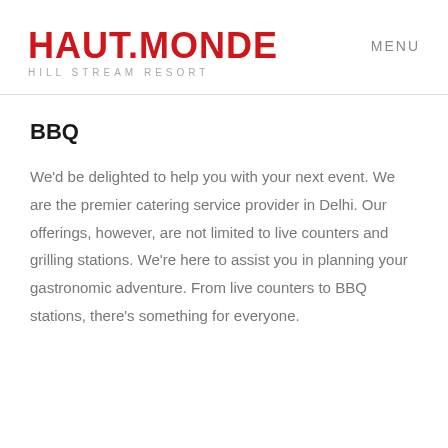HAUT.MONDE HILL STREAM RESORT | MENU
BBQ
We'd be delighted to help you with your next event. We are the premier catering service provider in Delhi. Our offerings, however, are not limited to live counters and grilling stations. We're here to assist you in planning your gastronomic adventure. From live counters to BBQ stations, there's something for everyone.